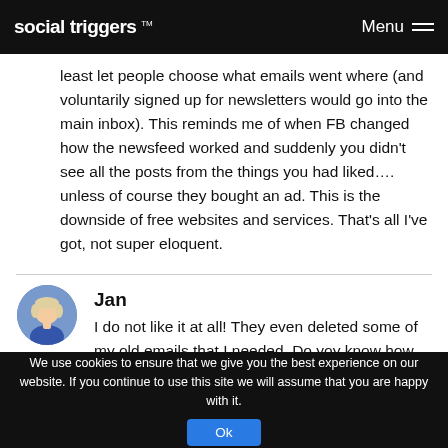social triggers ™  Menu
least let people choose what emails went where (and voluntarily signed up for newsletters would go into the main inbox). This reminds me of when FB changed how the newsfeed worked and suddenly you didn't see all the posts from the things you had liked.... unless of course they bought an ad. This is the downside of free websites and services. That's all I've got, not super eloquent.
Jan
I do not like it at all! They even deleted some of my old emails that I needed. Do yoy know how we can send a complaint to Goolge. They really need to stay out of
REPLY
We use cookies to ensure that we give you the best experience on our website. If you continue to use this site we will assume that you are happy with it.  Ok